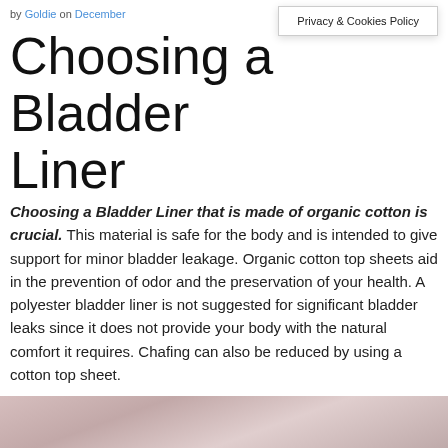by Goldie on December
Privacy & Cookies Policy
Choosing a Bladder Liner
Choosing a Bladder Liner that is made of organic cotton is crucial. This material is safe for the body and is intended to give support for minor bladder leakage. Organic cotton top sheets aid in the prevention of odor and the preservation of your health. A polyester bladder liner is not suggested for significant bladder leaks since it does not provide your body with the natural comfort it requires. Chafing can also be reduced by using a cotton top sheet.
[Figure (photo): Partial view of a photo at the bottom of the page, showing a pinkish/skin-toned background, likely a close-up product or body image.]